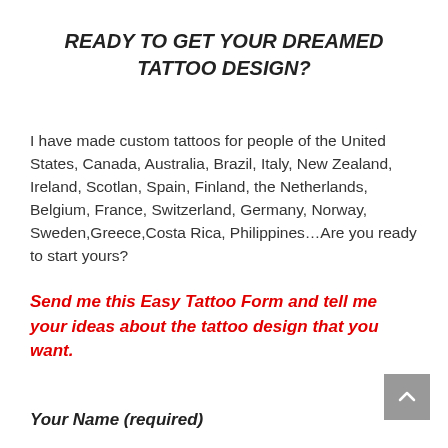READY TO GET YOUR DREAMED TATTOO DESIGN?
I have made custom tattoos for people of the United States, Canada, Australia, Brazil, Italy, New Zealand, Ireland, Scotlan, Spain, Finland, the Netherlands, Belgium, France, Switzerland, Germany, Norway, Sweden,Greece,Costa Rica, Philippines…Are you ready to start yours?
Send me this Easy Tattoo Form and tell me your ideas about the tattoo design that you want.
Your Name (required)